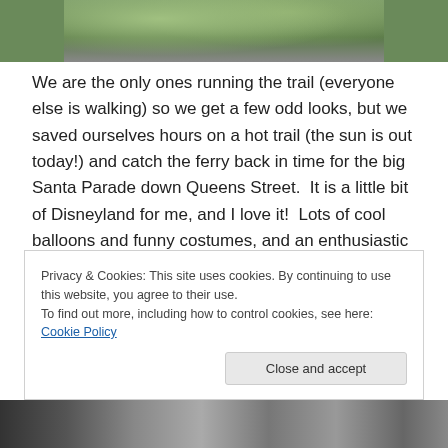[Figure (photo): Partial photo visible at top of page showing greenery and trees]
We are the only ones running the trail (everyone else is walking) so we get a few odd looks, but we saved ourselves hours on a hot trail (the sun is out today!) and catch the ferry back in time for the big Santa Parade down Queens Street.  It is a little bit of Disneyland for me, and I love it!  Lots of cool balloons and funny costumes, and an enthusiastic crowd.
Privacy & Cookies: This site uses cookies. By continuing to use this website, you agree to their use.
To find out more, including how to control cookies, see here: Cookie Policy
[Figure (photo): Partial photo visible at bottom of page showing outdoor scene]